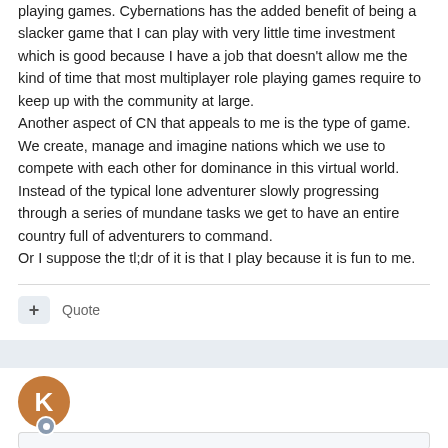playing games. Cybernations has the added benefit of being a slacker game that I can play with very little time investment which is good because I have a job that doesn't allow me the kind of time that most multiplayer role playing games require to keep up with the community at large. Another aspect of CN that appeals to me is the type of game. We create, manage and imagine nations which we use to compete with each other for dominance in this virtual world. Instead of the typical lone adventurer slowly progressing through a series of mundane tasks we get to have an entire country full of adventurers to command. Or I suppose the tl;dr of it is that I play because it is fun to me.
Quote
Kolia Farvazov
Posted April 12, 2009